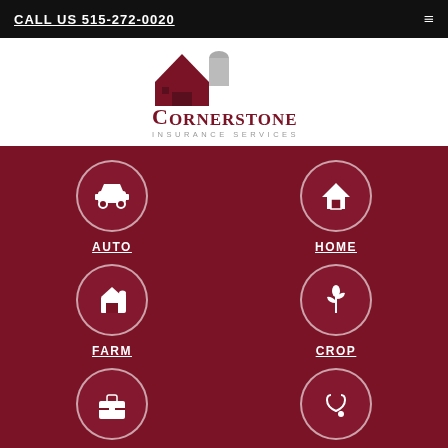CALL US 515-272-0020
[Figure (logo): Cornerstone Insurance Services logo with barn/silo icon]
AUTO
HOME
FARM
CROP
BUSINESS
HEALTH